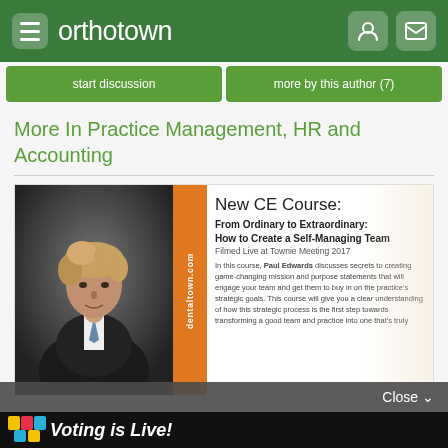orthotown
start discussion
more by this author (7)
More In Practice Management, HR and Accounting
[Figure (infographic): Promotional card for a new CE Course titled 'From Ordinary to Extraordinary: How to Create a Self-Managing Team' featuring a photo of a man in a suit and text about the course with dentaltown.com branding]
Close